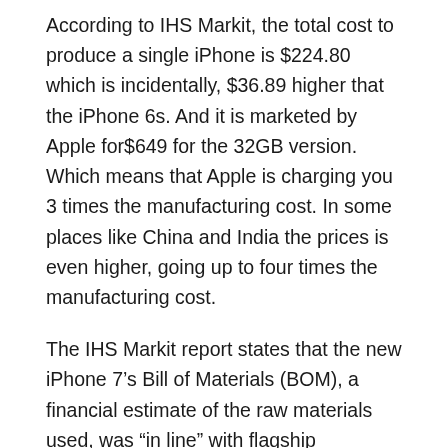According to IHS Markit, the total cost to produce a single iPhone is $224.80 which is incidentally, $36.89 higher that the iPhone 6s. And it is marketed by Apple for$649 for the 32GB version. Which means that Apple is charging you 3 times the manufacturing cost. In some places like China and India the prices is even higher, going up to four times the manufacturing cost.
The IHS Markit report states that the new iPhone 7’s Bill of Materials (BOM), a financial estimate of the raw materials used, was “in line” with flagship smartphones made by rival Samsung but Apple saves a lot more on better margins.
Andrew Rassweiler, senior director of cost benchmarking services at IHS Markit said “All other